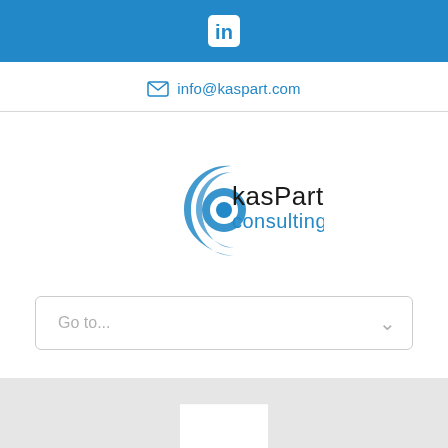in
info@kaspart.com
[Figure (logo): kasPart consulting logo with blue circular swirl graphic and text 'kasPart consulting']
Go to...
[Figure (other): Gray section with a white rectangle box centered]